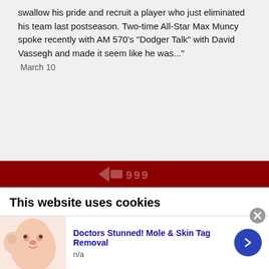swallow his pride and recruit a player who just eliminated his team last postseason. Two-time All-Star Max Muncy spoke recently with AM 570's “Dodger Talk” with David Vassegh and made it seem like he was..."
March 10
[Figure (logo): Dark red navigation bar with partial logo (arrow icon and stylized text) visible]
This website uses cookies
We use cookies to personalise content and ads, to provide social media features and to analyse our traffic. We also share information about your use of our site with our social media, advertising and analytics partners who may combine it with other information that you’ve provided to them or that they’ve
[Figure (illustration): Advertisement image showing a illustrated face of a woman with skin treatment theme]
Doctors Stunned! Mole & Skin Tag Removal
n/a